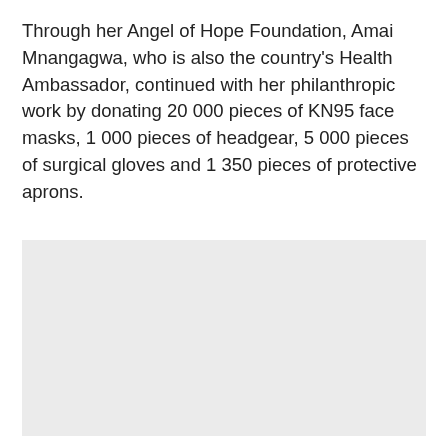Through her Angel of Hope Foundation, Amai Mnangagwa, who is also the country's Health Ambassador, continued with her philanthropic work by donating 20 000 pieces of KN95 face masks, 1 000 pieces of headgear, 5 000 pieces of surgical gloves and 1 350 pieces of protective aprons.
[Figure (photo): A light grey placeholder photo block occupying the lower portion of the page.]